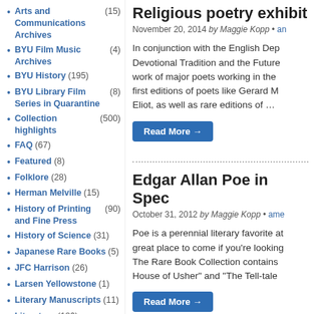Arts and Communications Archives (15)
BYU Film Music Archives (4)
BYU History (195)
BYU Library Film Series in Quarantine (8)
Collection highlights (500)
FAQ (67)
Featured (8)
Folklore (28)
Herman Melville (15)
History of Printing and Fine Press (90)
History of Science (31)
Japanese Rare Books (5)
JFC Harrison (26)
Larsen Yellowstone (1)
Literary Manuscripts (11)
Literature (186)
Louisa May Alcott (27)
Media Arts History (3)
Mormon Literary Authors (7)
Religious poetry exhibit
November 20, 2014 by Maggie Kopp • an
In conjunction with the English Dep Devotional Tradition and the Future work of major poets working in the first editions of poets like Gerard M Eliot, as well as rare editions of …
Read More →
Edgar Allan Poe in Spec
October 31, 2012 by Maggie Kopp • ame
Poe is a perennial literary favorite at great place to come if you're looking The Rare Book Collection contains House of Usher" and "The Tell-tale